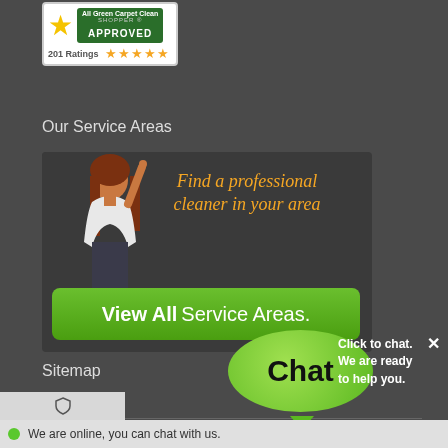[Figure (logo): All Green Carpet Clean Shopper Approved badge with gold star, 201 Ratings and 5 orange stars]
Our Service Areas
[Figure (illustration): Service area banner with woman pointing upward, orange italic text 'Find a professional cleaner in your area', and green 'View All Service Areas.' button]
Sitemap
Home
Services
Carpet Cleaning Levittown
Rug Cleaning Levitto...
Upholstery Cleaning...
[Figure (screenshot): Green chat bubble widget with 'Chat' text, 'Click to chat. We are ready to help you.' callout, close X button, and online status bar 'We are online, you can chat with us.']